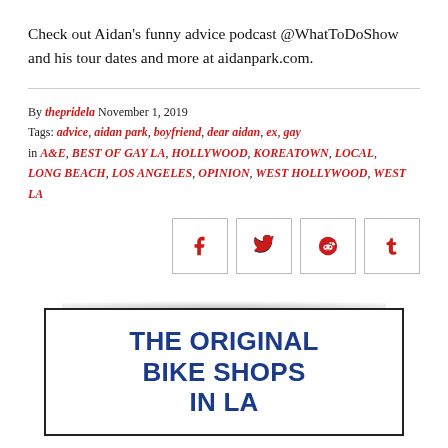Check out Aidan's funny advice podcast @WhatToDoShow and his tour dates and more at aidanpark.com.
By thepridela November 1, 2019
Tags: advice, aidan park, boyfriend, dear aidan, ex, gay
in A&E, BEST OF GAY LA, HOLLYWOOD, KOREATOWN, LOCAL, LONG BEACH, LOS ANGELES, OPINION, WEST HOLLYWOOD, WEST LA
[Figure (infographic): Social sharing buttons for Facebook, Twitter, Reddit, and Tumblr]
[Figure (infographic): Advertisement box with text: THE ORIGINAL BIKE SHOPS IN LA]